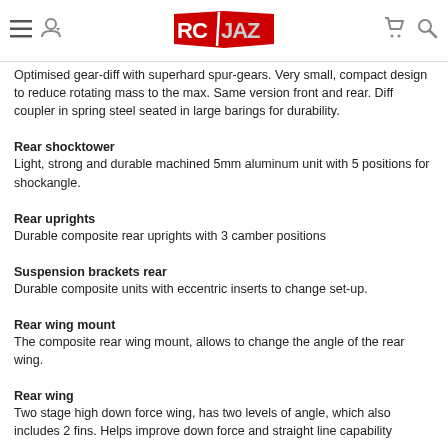RCJAZ logo with navigation icons
Optimised gear-diff with superhard spur-gears. Very small, compact design to reduce rotating mass to the max. Same version front and rear. Diff coupler in spring steel seated in large barings for durability.
Rear shocktower
Light, strong and durable machined 5mm aluminum unit with 5 positions for shockangle.
Rear uprights
Durable composite rear uprights with 3 camber positions
Suspension brackets rear
Durable composite units with eccentric inserts to change set-up.
Rear wing mount
The composite rear wing mount, allows to change the angle of the rear wing.
Rear wing
Two stage high down force wing, has two levels of angle, which also includes 2 fins. Helps improve down force and straight line capability